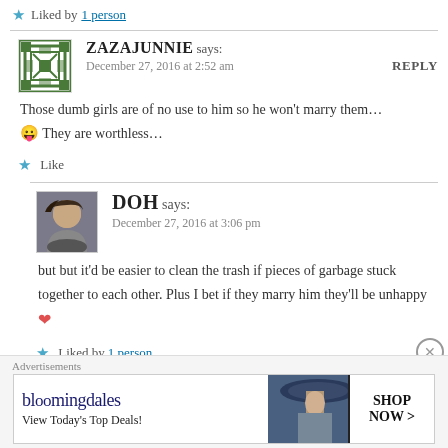★ Liked by 1 person
ZAZAJUNNIE says: December 27, 2016 at 2:52 am  REPLY
Those dumb girls are of no use to him so he won't marry them… 😛 They are worthless…
★ Like
DOH says: December 27, 2016 at 3:06 pm
but but it'd be easier to clean the trash if pieces of garbage stuck together to each other. Plus I bet if they marry him they'll be unhappy ❤
★ Liked by 1 person
Advertisements
[Figure (other): Bloomingdales advertisement banner with woman in wide-brim hat. Text: bloomingdales View Today's Top Deals! SHOP NOW >]